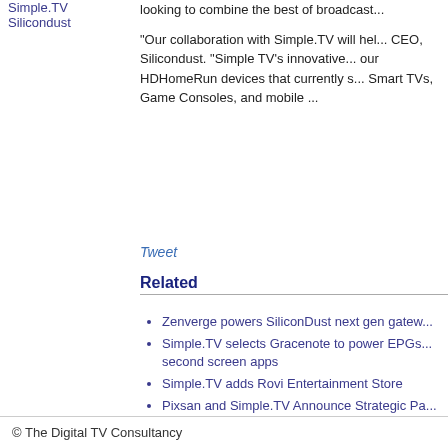Simple.TV
Silicondust
looking to combine the best of broadcast...
"Our collaboration with Simple.TV will hel... CEO, Silicondust. "Simple TV's innovative... our HDHomeRun devices that currently s... Smart TVs, Game Consoles, and mobile ...
Tweet
Related
Zenverge powers SiliconDust next gen gatew...
Simple.TV selects Gracenote to power EPGs... second screen apps
Simple.TV adds Rovi Entertainment Store
Pixsan and Simple.TV Announce Strategic Pa... Freeview integration
Simple.TV launches DVR for cord cutters with...
© The Digital TV Consultancy